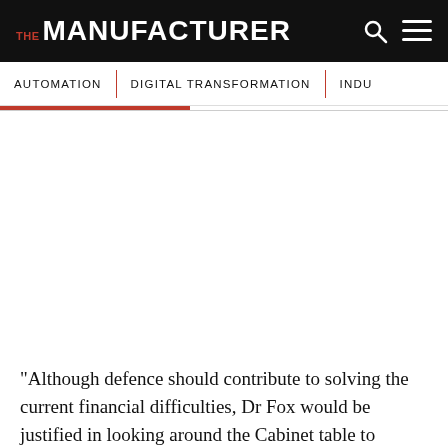THE MANUFACTURER
AUTOMATION | DIGITAL TRANSFORMATION | INDU
[Figure (photo): White/blank image area below navigation bar]
“Although defence should contribute to solving the current financial difficulties, Dr Fox would be justified in looking around the Cabinet table to challenge other